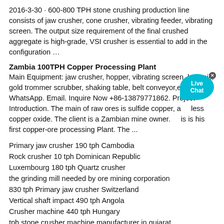2016-3-30 · 600-800 TPH stone crushing production line consists of jaw crusher, cone crusher, vibrating feeder, vibrating screen. The output size requirement of the final crushed aggregate is high-grade, VSI crusher is essential to add in the configuration …
Zambia 100TPH Copper Processing Plant
Main Equipment: jaw crusher, hopper, vibrating screen, ball mill, gold trommer scrubber, shaking table, belt conveyor,etc. WhatsApp. Email. Inquire Now +86-13879771862. Project Introduction. The main of raw ores is sulfide copper, and less copper oxide. The client is a Zambian mine owner. This is his first copper-ore processing Plant. The ...
Primary jaw crusher 190 tph Cambodia
Rock crusher 10 tph Dominican Republic
Luxembourg 180 tph Quartz crusher
the grinding mill needed by ore mining corporation
830 tph Primary jaw crusher Switzerland
Vertical shaft impact 490 tph Angola
Crusher machine 440 tph Hungary
tph stone crusher machine manufacturer in gujarat
790 tph Secondary crusher Fiji
heap leach gold extraction equipment
445 tph Stone crusher plant Jamaica
Jaw crusher 55 tph Nepal